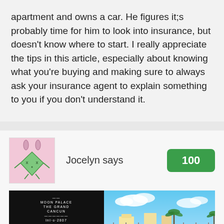apartment and owns a car. He figures it;s probably time for him to look into insurance, but doesn't know where to start. I really appreciate the tips in this article, especially about knowing what you're buying and making sure to always ask your insurance agent to explain something to you if you don't understand it.
Jocelyn says
[Figure (illustration): User avatar: cartoon illustration of a green diamond/kite character with bunny ears and XX eyes on a pink background]
[Figure (screenshot): Advertisement banner for Moon Palace The Grand Cancun hotel showing 'Time to Pack' text on dark left side and resort pool/beach photo on right side with X and play button controls]